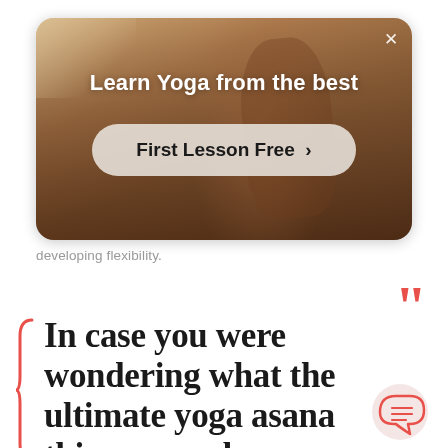[Figure (screenshot): Ad banner for yoga learning platform showing a person in yoga pose with warm amber background. Contains heading 'Learn Yoga from the best' and a call-to-action button 'First Lesson Free >' with a close X button in top right corner.]
developing flexibility.
In case you were wondering what the ultimate yoga asana this one works your